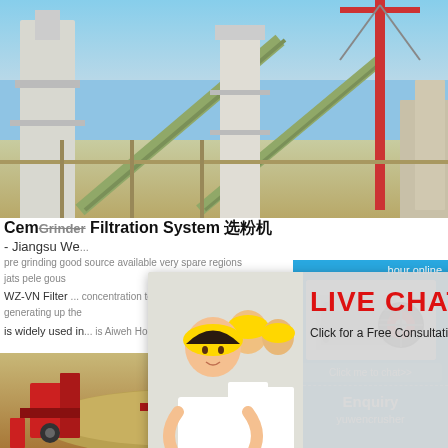[Figure (photo): Industrial conveyor and filtration system facility with cranes and white structural towers against a blue sky]
Cem Grinder Filtration System 选粉机 - Jiangsu We
WZ-VN Filter ... is widely used in ... grinding ... very light, wheel of gear form only 3kg, which is very the CBN machine is
[Figure (photo): Live Chat popup overlay with construction workers in yellow hard hats, woman in front, red LIVE CHAT text, Chat now and Chat later buttons]
LIVE CHAT
Click for a Free Consultation
Chat now
Chat later
More
Get Price
Email contact
[Figure (photo): Right sidebar showing crusher machine photo on blue background with hour online text, Click me to chat button, Enquiry heading, and yuwencrusher text]
hour online
Click me to chat>>
Enquiry
yuwencrusher
[Figure (photo): Bottom partial photo of red industrial machinery/equipment on sandy/desert terrain]